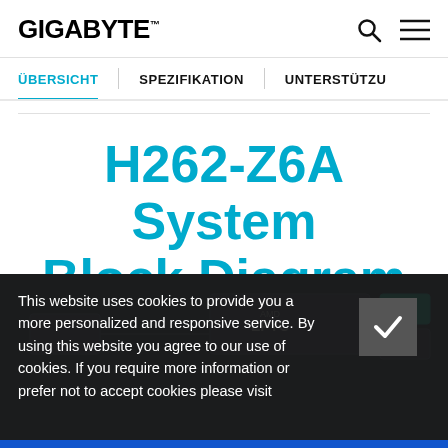GIGABYTE
ÜBERSICHT | SPEZIFIKATION | UNTERSTÜTZU
H262-Z6A System Block Diagram
This website uses cookies to provide you a more personalized and responsive service. By using this website you agree to our use of cookies. If you require more information or prefer not to accept cookies please visit
[Figure (schematic): Partial view of H262-Z6A system block diagram with AMD EPYC processor visible in background, partially obscured by cookie consent overlay]